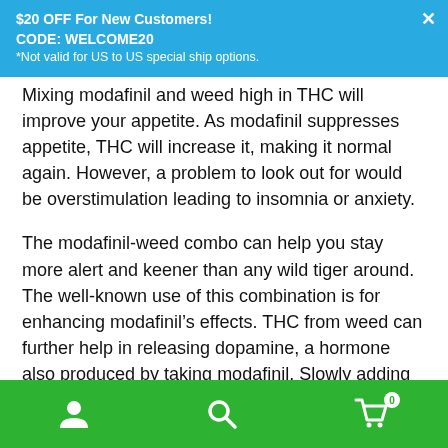$20 OFF For New Customers!
CODE: WELCOME20
*Not valid for US to US special ship options.
Mixing modafinil and weed high in THC will improve your appetite. As modafinil suppresses appetite, THC will increase it, making it normal again. However, a problem to look out for would be overstimulation leading to insomnia or anxiety.
The modafinil-weed combo can help you stay more alert and keener than any wild tiger around. The well-known use of this combination is for enhancing modafinil’s effects. THC from weed can further help in releasing dopamine, a hormone also produced by taking modafinil. Slowly adding weed to your modafinil regimen may improve modafinil’s peak while preventing overstimulation.
On the other hand, CBD, the sedative, will help relieve overstimulation from modafinil. If you think that modafinil is too potent for you, this combo is a big help. Unfortunately, be aware...
[user icon] [search icon] [cart icon with badge 0]